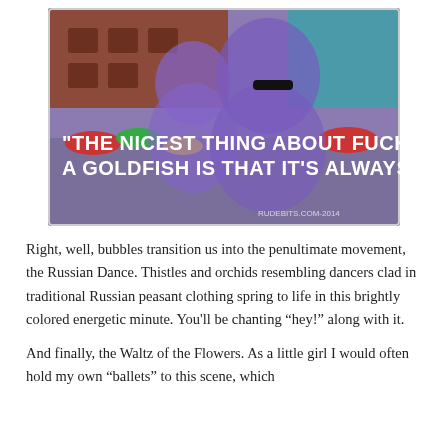[Figure (photo): A photo of two men with a purple color overlay, standing in front of a brick building and marketplace. Overlaid white bold text reads: "THE NICEST THING ABOUT FUCKING A GOLDFISH IS THAT IT'S ALWAYS WET!" with a watermark in bottom right.]
Right, well, bubbles transition us into the penultimate movement, the Russian Dance. Thistles and orchids resembling dancers clad in traditional Russian peasant clothing spring to life in this brightly colored energetic minute. You'll be chanting “hey!” along with it.

And finally, the Waltz of the Flowers. As a little girl I would often hold my own “ballets” to this scene, which